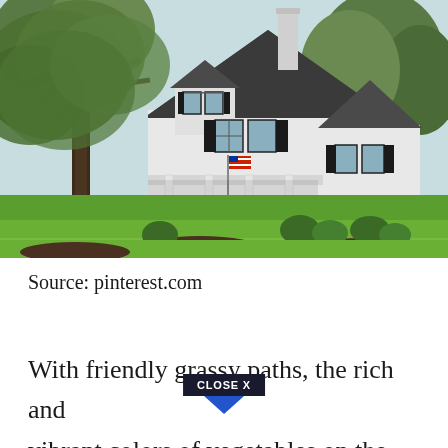[Figure (photo): Exterior photo of a white Cape Cod / cottage style house with dark gray roof, black shutters, a covered front porch with white columns, an American flag, large mature trees on the left, lush green lawn, and surrounding shrubs and landscaping.]
Source: pinterest.com
With friendly grassy paths, the rich and vibrant colors of vegetables on the vine, and
CLOSE X